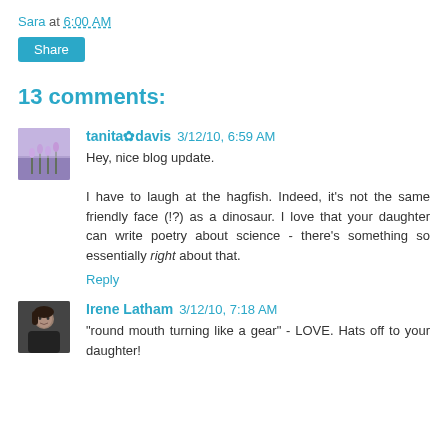Sara at 6:00 AM
Share
13 comments:
tanita✿davis 3/12/10, 6:59 AM
Hey, nice blog update.

I have to laugh at the hagfish. Indeed, it's not the same friendly face (!?) as a dinosaur. I love that your daughter can write poetry about science - there's something so essentially right about that.

Reply
Irene Latham 3/12/10, 7:18 AM
"round mouth turning like a gear" - LOVE. Hats off to your daughter!